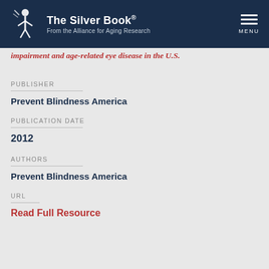The Silver Book® — From the Alliance for Aging Research
impairment and age-related eye disease in the U.S.
PUBLISHER
Prevent Blindness America
PUBLICATION DATE
2012
AUTHORS
Prevent Blindness America
URL
Read Full Resource